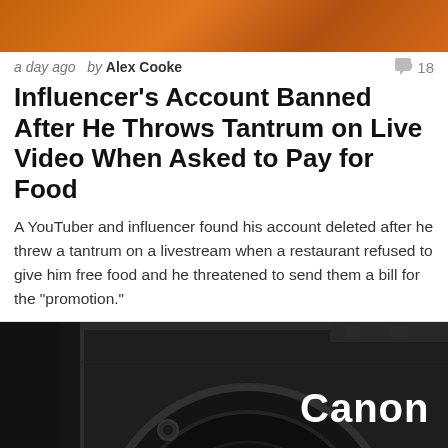[Figure (photo): Top portion of a photo showing orange/warm colored background, cropped at top of page]
a day ago  by Alex Cooke  💬 18
Influencer's Account Banned After He Throws Tantrum on Live Video When Asked to Pay for Food
A YouTuber and influencer found his account deleted after he threw a tantrum on a livestream when a restaurant refused to give him free food and he threatened to send them a bill for the "promotion."
[Figure (photo): Close-up photo of a Canon camera body, dark grey/black, showing Canon logo in white text and part of the lens mount with a red indicator dot]